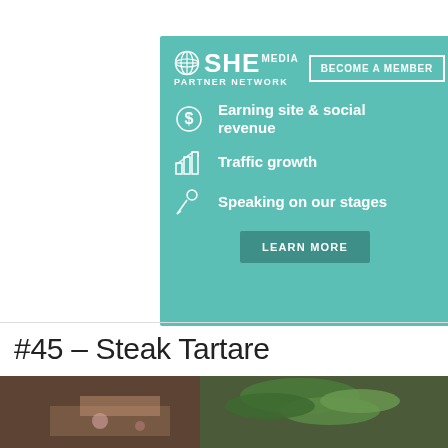[Figure (infographic): SHE Media Partner Network advertisement banner with teal background. Shows logo, 'BECOME A MEMBER' button, three feature items (Earning site & social revenue, Traffic growth, Speaking on our stages), and a LEARN MORE button.]
#45 – Steak Tartare
[Figure (photo): Close-up photo of steak tartare dish with green herbs/basil leaves on top, on a wooden surface.]